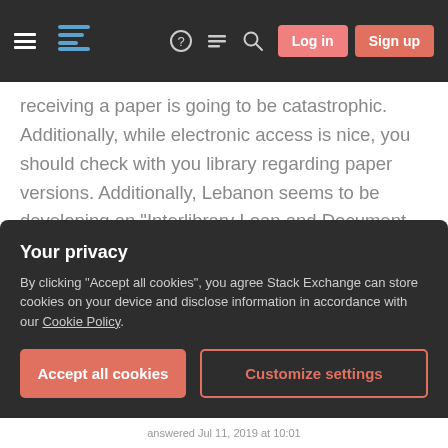Navigation bar with hamburger menu, Stack Exchange logo, help, chat, search icons, Log in and Sign up buttons
receiving a paper is going to be catastrophic. Additionally, while electronic access is nice, you should check with you library regarding paper versions. Additionally, Lebanon seems to be developing an "Interlibrary Loan and Document Delivery Services" called LIDS. In the absence of your university helping you obtain a copy of the paper, you should talk to your supervisor. They may have a colleague at a university with a better library. Only after exhausting all other opportunities would I consider buying the paper from the publisher or
Your privacy
By clicking "Accept all cookies", you agree Stack Exchange can store cookies on your device and disclose information in accordance with our Cookie Policy.
Accept all cookies    Customize settings